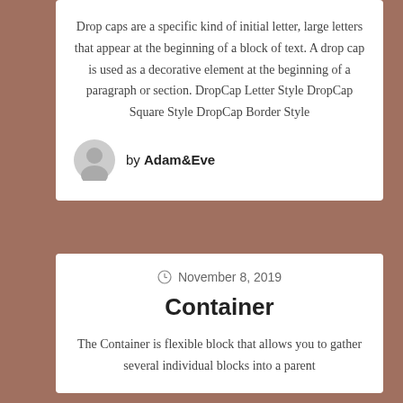Drop caps are a specific kind of initial letter, large letters that appear at the beginning of a block of text. A drop cap is used as a decorative element at the beginning of a paragraph or section. DropCap Letter Style DropCap Square Style DropCap Border Style
by Adam&Eve
November 8, 2019
Container
The Container is flexible block that allows you to gather several individual blocks into a parent